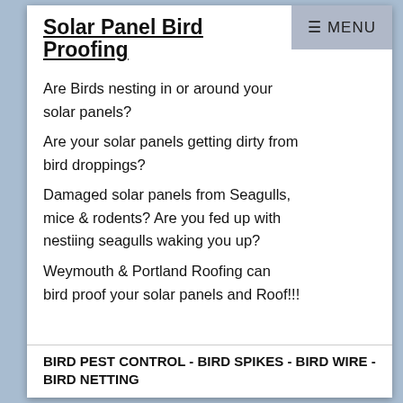Solar Panel Bird Proofing
Are Birds nesting in or around your solar panels?
Are your solar panels getting dirty from bird droppings?
Damaged solar panels from Seagulls, mice & rodents? Are you fed up with nestiing seagulls waking you up?
Weymouth & Portland Roofing can bird proof your solar panels and Roof!!!
BIRD PEST CONTROL - BIRD SPIKES - BIRD WIRE - BIRD NETTING